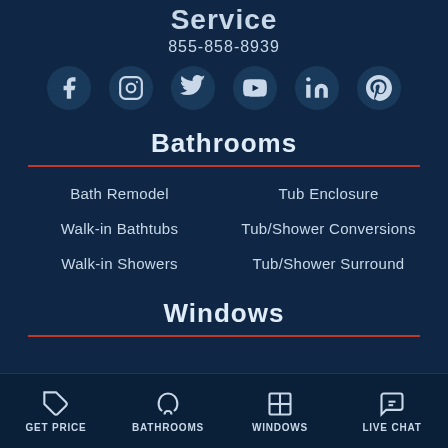Service
855-858-8939
[Figure (other): Social media icons: Facebook, Instagram, Twitter, YouTube, LinkedIn, Pinterest]
Bathrooms
Bath Remodel
Walk-in Bathtubs
Walk-in Showers
Tub Enclosure
Tub/Shower Conversions
Tub/Shower Surround
Windows
GET PRICE  BATHROOMS  WINDOWS  LIVE CHAT